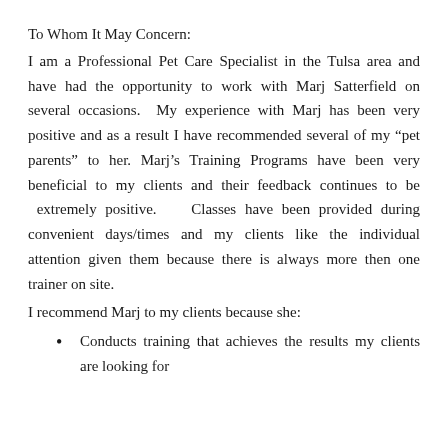To Whom It May Concern:
I am a Professional Pet Care Specialist in the Tulsa area and have had the opportunity to work with Marj Satterfield on several occasions.  My experience with Marj has been very positive and as a result I have recommended several of my “pet parents” to her. Marj’s Training Programs have been very beneficial to my clients and their feedback continues to be  extremely positive.    Classes have been provided during convenient days/times and my clients like the individual attention given them because there is always more then one trainer on site.
I recommend Marj to my clients because she:
Conducts training that achieves the results my clients are looking for